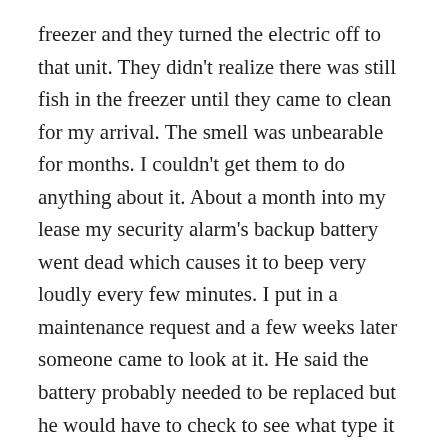freezer and they turned the electric off to that unit. They didn't realize there was still fish in the freezer until they came to clean for my arrival. The smell was unbearable for months. I couldn't get them to do anything about it. About a month into my lease my security alarm's backup battery went dead which causes it to beep very loudly every few minutes. I put in a maintenance request and a few weeks later someone came to look at it. He said the battery probably needed to be replaced but he would have to check to see what type it needed. I said ok and thought he would be back soon. A month went by and I heard nothing. I decided to put in another request. He came back and said the same thing. That the battery probably needed to be replaced and he needed to check to see what